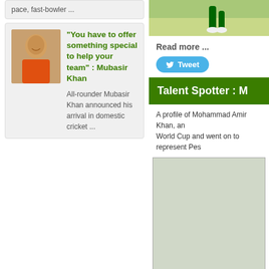pace, fast-bowler ...
[Figure (photo): Thumbnail photo of Mubasir Khan in orange cricket jersey]
"You have to offer something special to help your team" : Mubasir Khan
All-rounder Mubasir Khan announced his arrival in domestic cricket ...
[Figure (photo): Cricket player in green Pakistan jersey, legs visible]
Read more ...
Tweet
Talent Spotter : M
A profile of Mohammad Amir Khan, an... World Cup and went on to represent Pes...
[Figure (photo): Large image block, partially visible cricket-related photo]
Read more ...